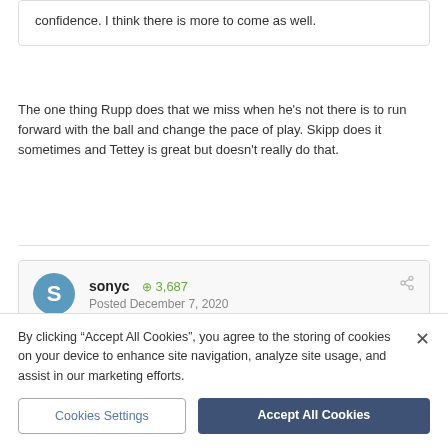confidence.  I think there is more to come as well.
The one thing Rupp does that we miss when he's not there is to run forward with the ball and change the pace of play. Skipp does it sometimes and Tettey is great but doesn't really do that.
sonyc   +3,687   Posted December 7, 2020
On 07/12/2020 at 08:47, Parma Ham's gone mouldy said:
By clicking "Accept All Cookies", you agree to the storing of cookies on your device to enhance site navigation, analyze site usage, and assist in our marketing efforts.
Cookies Settings
Accept All Cookies